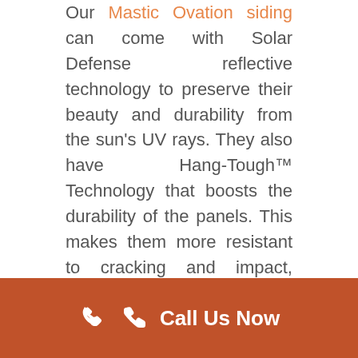Our Mastic Ovation siding can come with Solar Defense reflective technology to preserve their beauty and durability from the sun's UV rays. They also have Hang-Tough™ Technology that boosts the durability of the panels. This makes them more resistant to cracking and impact, assuring you of lasting performance.
Furthermore, they are made from natural materials and do not require painting or staining. This means less carbon emission and less use of natural resources, making them an eco-friendly product. Additionally,
[Figure (infographic): Orange/burnt-sienna colored footer bar with a white phone handset icon on the left and white bold text 'Call Us Now' on the right.]